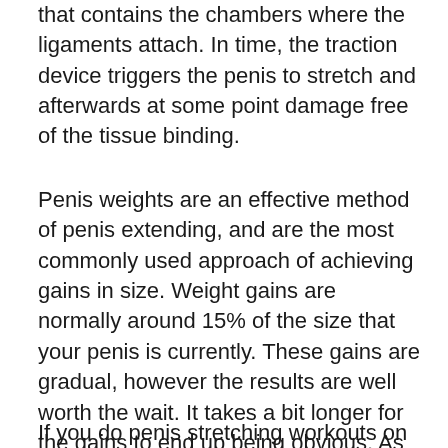that contains the chambers where the ligaments attach. In time, the traction device triggers the penis to stretch and afterwards at some point damage free of the tissue binding.
Penis weights are an effective method of penis extending, and are the most commonly used approach of achieving gains in size. Weight gains are normally around 15% of the size that your penis is currently. These gains are gradual, however the results are well worth the wait. It takes a bit longer for the gains to end up being obvious. As long as you utilize the weights properly, you will certainly see steady gains in size gradually.
If you do penis stretching workouts on your